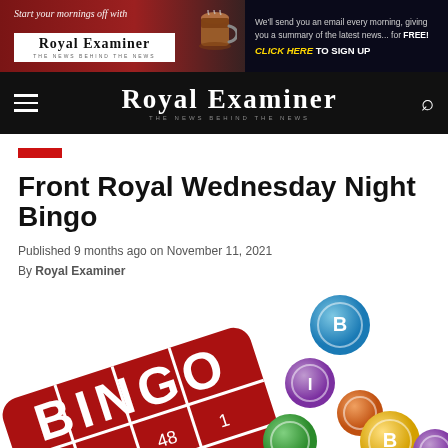[Figure (screenshot): Banner advertisement for Royal Examiner newsletter signup with coffee cup imagery, red/dark background, script text 'Start your mornings off with', Royal Examiner logo in white box, and call to action 'CLICK HERE TO SIGN UP']
ROYAL EXAMINER — THE NEWS BEHIND THE NEWS
Front Royal Wednesday Night Bingo
Published 9 months ago on November 11, 2021
By Royal Examiner
[Figure (illustration): Bingo card and colorful bingo balls illustration. Red bingo card showing 'BINGO' text with numbers 48, 4, 13, 25. Multiple colorful spherical bingo balls in blue, purple, green, orange and yellow with letters B, I visible.]